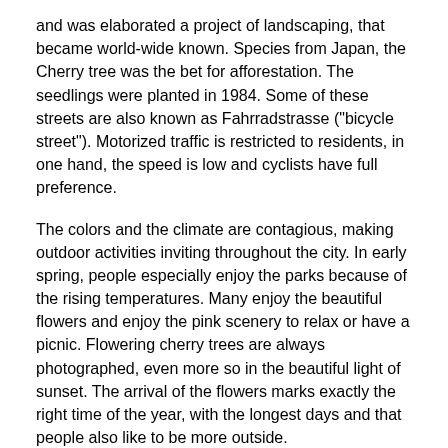and was elaborated a project of landscaping, that became world-wide known. Species from Japan, the Cherry tree was the bet for afforestation. The seedlings were planted in 1984. Some of these streets are also known as Fahrradstrasse ("bicycle street"). Motorized traffic is restricted to residents, in one hand, the speed is low and cyclists have full preference.
The colors and the climate are contagious, making outdoor activities inviting throughout the city. In early spring, people especially enjoy the parks because of the rising temperatures. Many enjoy the beautiful flowers and enjoy the pink scenery to relax or have a picnic. Flowering cherry trees are always photographed, even more so in the beautiful light of sunset. The arrival of the flowers marks exactly the right time of the year, with the longest days and that people also like to be more outside.
All this lasts a few days: soon, the flowers already form a carpet on the floor and the green leaves take place. But it is a good example of how urban landscaping can transform an entire region. In Brazil, with the diversity of species, and that bloom at different times of the year, we could have beautiful streets and parks. And what about the urban trees of our city?